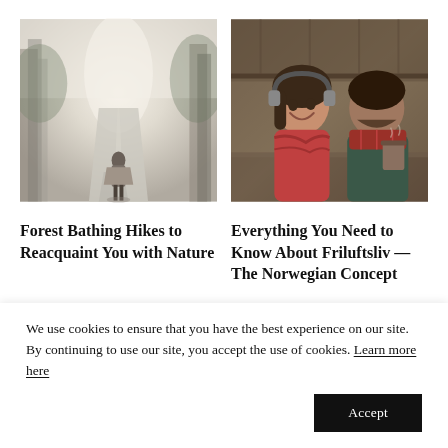[Figure (photo): Person wrapped in a blanket/poncho walking away on a misty forest path]
[Figure (photo): Smiling couple in winter scarves and jackets sharing a warm drink under a wooden shelter]
Forest Bathing Hikes to Reacquaint You with Nature
Everything You Need to Know About Friluftsliv — The Norwegian Concept
We use cookies to ensure that you have the best experience on our site. By continuing to use our site, you accept the use of cookies. Learn more here